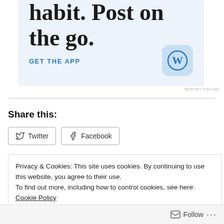[Figure (illustration): WordPress app advertisement banner with large serif text 'habit. Post on the go.', a 'GET THE APP' blue link, and the WordPress 'W' logo icon on a light blue background.]
REPORT THIS AD
Share this:
Twitter  Facebook
Privacy & Cookies: This site uses cookies. By continuing to use this website, you agree to their use.
To find out more, including how to control cookies, see here: Cookie Policy
Close and accept
Follow ...